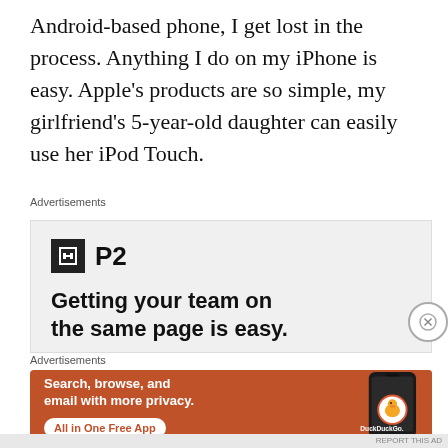Android-based phone, I get lost in the process. Anything I do on my iPhone is easy. Apple’s products are so simple, my girlfriend’s 5-year-old daughter can easily use her iPod Touch.
Advertisements
[Figure (infographic): Advertisement for P2 app with tagline 'Getting your team on the same page is easy.' on a light gray background with P2 logo (dark square icon with H shape and 'P2' text).]
Advertisements
[Figure (infographic): DuckDuckGo advertisement on orange background: 'Search, browse, and email with more privacy. All in One Free App' with phone image and DuckDuckGo logo.]